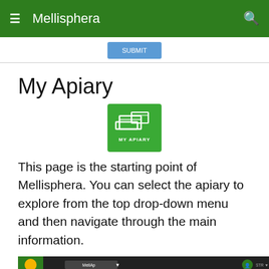Mellisphera
[Figure (screenshot): Submit button on a form]
My Apiary
[Figure (logo): My Apiary icon - green square with beehive boxes icon and text MY APIARY]
This page is the starting point of Mellisphera. You can select the apiary to explore from the top drop-down menu and then navigate through the main information.
[Figure (screenshot): Screenshot of the Mellisphera app showing the My Apiary page with a landscape photo of beehives, navigation tabs (Apiary, Home, Brood, Weight, Device), and an events calendar for the apiary MellAp dated 04/06/2020]